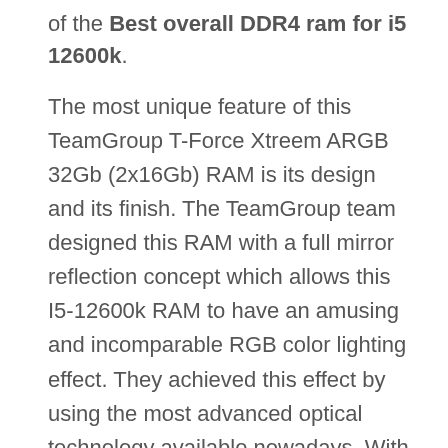of the Best overall DDR4 ram for i5 12600k.
The most unique feature of this TeamGroup T-Force Xtreem ARGB 32Gb (2x16Gb) RAM is its design and its finish. The TeamGroup team designed this RAM with a full mirror reflection concept which allows this I5-12600k RAM to have an amusing and incomparable RGB color lighting effect. They achieved this effect by using the most advanced optical technology available nowadays. With the help of this penetrating light guide and optical reflection assisted with a mirror finish, it illuminates the entire module and depicts a multi-layer of